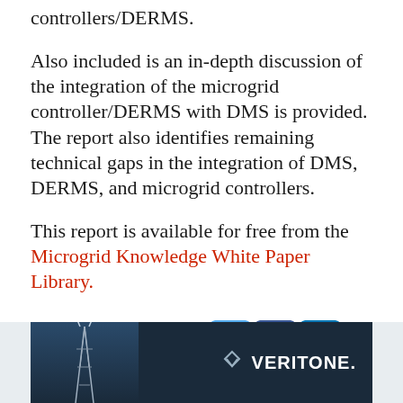controllers/DERMS.
Also included is an in-depth discussion of the integration of the microgrid controller/DERMS with DMS is provided. The report also identifies remaining technical gaps in the integration of DMS, DERMS, and microgrid controllers.
This report is available for free from the Microgrid Knowledge White Paper Library.
Share with your followers
[Figure (infographic): Veritone advertisement banner with dark blue background showing a communications tower on the left and the Veritone logo (checkmark-like icon and bold text 'VERITONE.') on the right.]